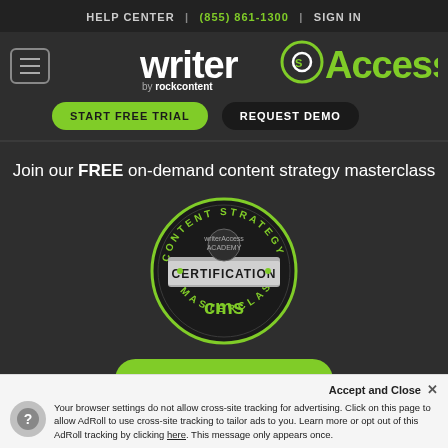HELP CENTER | (855) 861-1300 | SIGN IN
[Figure (logo): WriterAccess by rockcontent logo with hamburger menu]
START FREE TRIAL   REQUEST DEMO
Join our FREE on-demand content strategy masterclass
[Figure (illustration): Content Strategy Certification Masterclass badge/seal with WriterAccess Academy branding, green and dark circular badge]
GET CERTIFIED
Accept and Close ×
Your browser settings do not allow cross-site tracking for advertising. Click on this page to allow AdRoll to use cross-site tracking to tailor ads to you. Learn more or opt out of this AdRoll tracking by clicking here. This message only appears once.